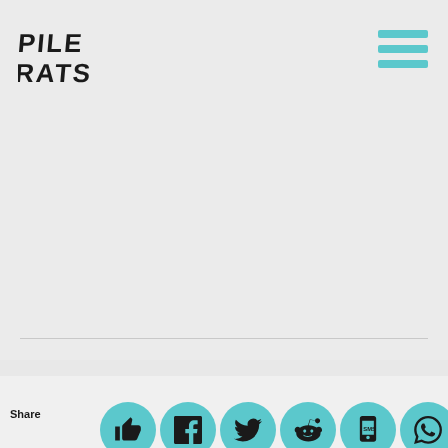[Figure (logo): Pilerats stylized graffiti-style logo in black]
[Figure (illustration): Hamburger menu icon with three teal/cyan horizontal bars in top right corner]
2022 Pilerats
Legal
Terms and conditions
Privacy
[Figure (infographic): Social share bar with Share label and circular teal icons: thumbs up, Facebook, Twitter, Reddit, SMS, WhatsApp, crown/King]